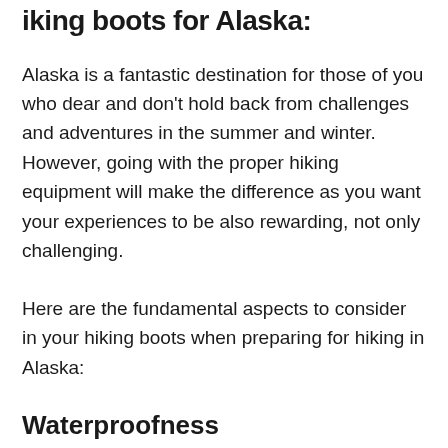Hiking boots for Alaska:
Alaska is a fantastic destination for those of you who dear and don't hold back from challenges and adventures in the summer and winter. However, going with the proper hiking equipment will make the difference as you want your experiences to be also rewarding, not only challenging.
Here are the fundamental aspects to consider in your hiking boots when preparing for hiking in Alaska:
Waterproofness
No matter if you go in the summer or the winter, you need your hiking footwear to be waterproof. Several technologies are used for waterproofness, but